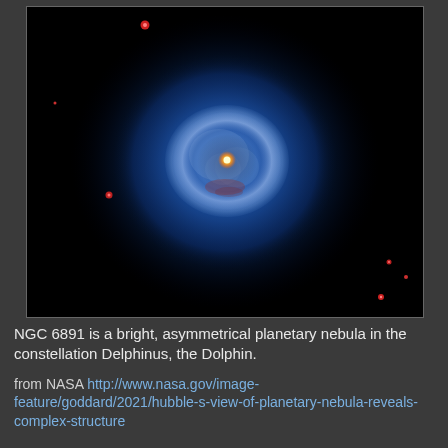[Figure (photo): Hubble Space Telescope image of NGC 6891, a bright asymmetrical planetary nebula. The nebula appears as a glowing blue spherical halo with a smaller bright inner shell structure and a bright yellow-orange central star. Several red stars are visible in the surrounding black space.]
NGC 6891 is a bright, asymmetrical planetary nebula in the constellation Delphinus, the Dolphin.
from NASA http://www.nasa.gov/image-feature/goddard/2021/hubble-s-view-of-planetary-nebula-reveals-complex-structure